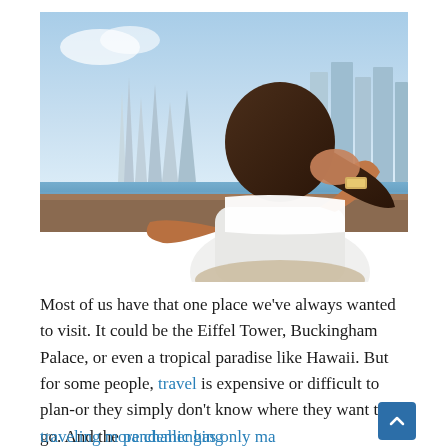[Figure (photo): A woman with long brown hair, wearing a white sleeveless top and a gold watch, is seen from behind with her hand raised to her hair. She is looking toward a city skyline with tall skyscrapers under a blue sky, with water visible in the background. The scene resembles Dubai Marina or a similar city waterfront.]
Most of us have that one place we've always wanted to visit. It could be the Eiffel Tower, Buckingham Palace, or even a tropical paradise like Hawaii. But for some people, travel is expensive or difficult to plan-or they simply don't know where they want to go. And the pandemic has only made traveling more challenging. If you're someone who has